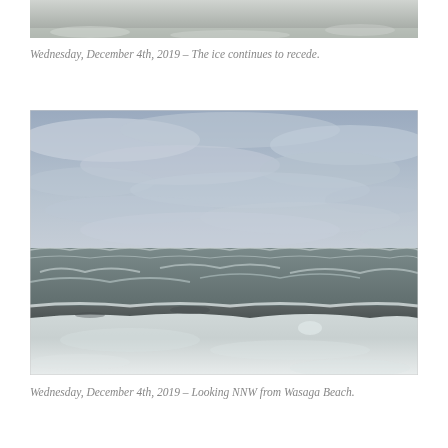[Figure (photo): Top portion of a snowy/icy landscape photo, cropped at the top of the page]
Wednesday, December 4th, 2019 – The ice continues to recede.
[Figure (photo): Winter beach scene looking NNW from Wasaga Beach. The foreground shows snow and ice on the beach, the middle shows choppy grey-green waves with whitecaps, and the background shows an overcast grey sky with clouds.]
Wednesday, December 4th, 2019 – Looking NNW from Wasaga Beach.